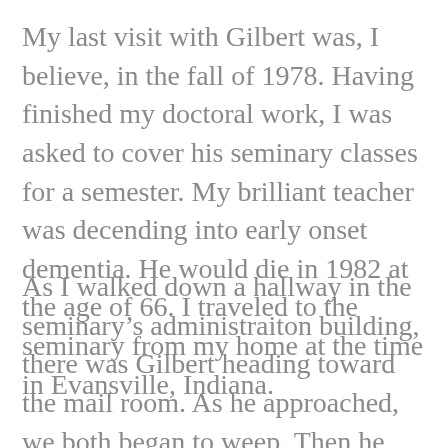My last visit with Gilbert was, I believe, in the fall of 1978. Having finished my doctoral work, I was asked to cover his seminary classes for a semester. My brilliant teacher was decending into early onset dementia. He would die in 1982 at the age of 66. I traveled to the seminary from my home at the time in Evansville, Indiana.
As I walked down a hallway in the seminary's administraiton building, there was Gilbert heading toward the mail room. As he approached, we both began to weep. Then he gave me a hug and said, “I should know but I can’t place who you